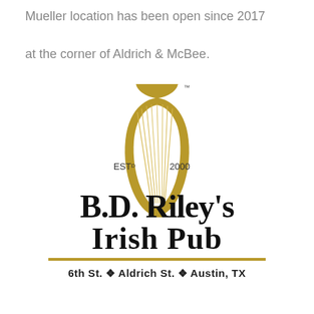Mueller location has been open since 2017 at the corner of Aldrich & McBee.
[Figure (logo): B.D. Riley's Irish Pub logo featuring a gold harp, EST D 2000, stylized script text 'B.D. Riley's IRISH PUB', a gold horizontal rule, and address '6th St. ❖ Aldrich St. ❖ Austin, TX']